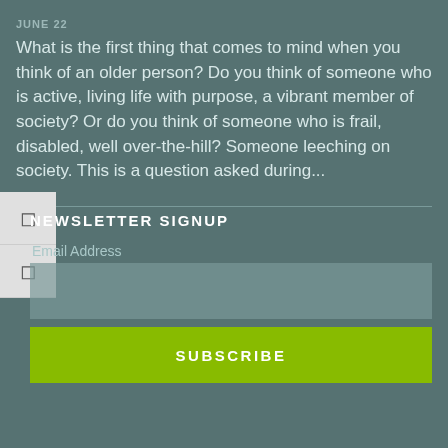JUNE 22
What is the first thing that comes to mind when you think of an older person? Do you think of someone who is active, living life with purpose, a vibrant member of society? Or do you think of someone who is frail, disabled, well over-the-hill? Someone leeching on society. This is a question asked during...
NEWSLETTER SIGNUP
Email Address
SUBSCRIBE